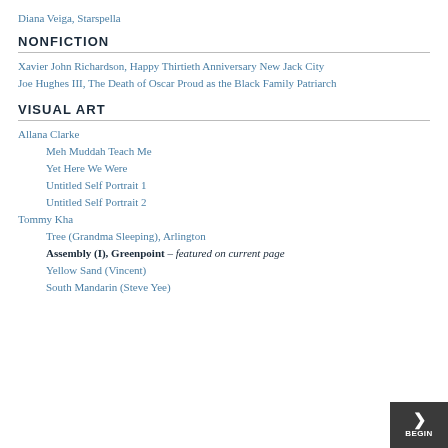Diana Veiga, Starspella
NONFICTION
Xavier John Richardson, Happy Thirtieth Anniversary New Jack City
Joe Hughes III, The Death of Oscar Proud as the Black Family Patriarch
VISUAL ART
Allana Clarke
Meh Muddah Teach Me
Yet Here We Were
Untitled Self Portrait 1
Untitled Self Portrait 2
Tommy Kha
Tree (Grandma Sleeping), Arlington
Assembly (I), Greenpoint – featured on current page
Yellow Sand (Vincent)
South Mandarin (Steve Yee)